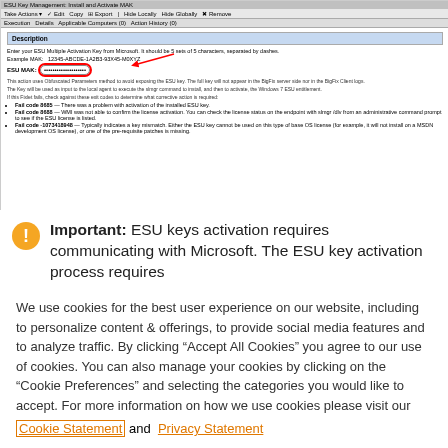[Figure (screenshot): Screenshot of ESU Key Management Install and Activate MAK tool window showing a Description section with fields for entering a Multiple Activation Key (MAK). Shows ESU MAK field with masked password dots, a red arrow pointing to it, text instructions, and bullet points for fail codes 8685, 8688, and -1073418948.]
Important: ESU keys activation requires communicating with Microsoft. The ESU key activation process requires
We use cookies for the best user experience on our website, including to personalize content & offerings, to provide social media features and to analyze traffic. By clicking “Accept All Cookies” you agree to our use of cookies. You can also manage your cookies by clicking on the “Cookie Preferences” and selecting the categories you would like to accept. For more information on how we use cookies please visit our Cookie Statement and Privacy Statement